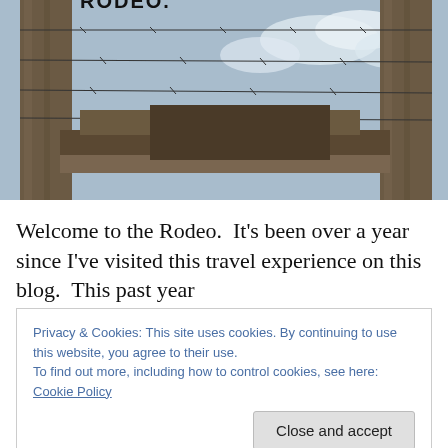[Figure (photo): Photo of a rodeo gate/archway with wooden posts and barbed wire strands stretched across the top, sky visible through the frame, wooden structures in the background]
Welcome to the Rodeo.  It's been over a year since I've visited this travel experience on this blog.  This past year
Privacy & Cookies: This site uses cookies. By continuing to use this website, you agree to their use.
To find out more, including how to control cookies, see here: Cookie Policy
via one trip around the sun.  There's a whole story of this